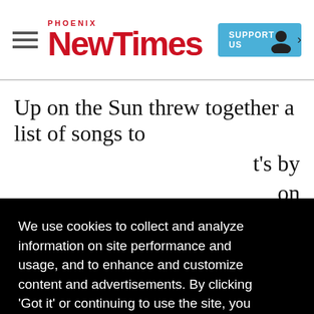Phoenix New Times — SUPPORT US
Up on the Sun threw together a list of songs to
t's by
on
at can right t).
We use cookies to collect and analyze information on site performance and usage, and to enhance and customize content and advertisements. By clicking 'Got it' or continuing to use the site, you agree to allow cookies to be placed. To find out more, visit our cookies policy and our privacy policy.
Got it!